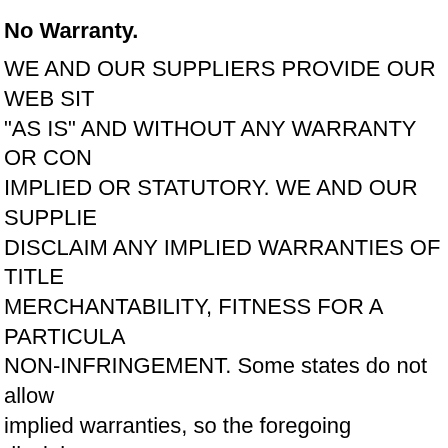No Warranty.
WE AND OUR SUPPLIERS PROVIDE OUR WEB SITE "AS IS" AND WITHOUT ANY WARRANTY OR CONDITION, IMPLIED OR STATUTORY. WE AND OUR SUPPLIERS DISCLAIM ANY IMPLIED WARRANTIES OF TITLE, MERCHANTABILITY, FITNESS FOR A PARTICULAR PURPOSE, NON-INFRINGEMENT. Some states do not allow the exclusion of implied warranties, so the foregoing disclaimer may not apply to you. This warranty gives you specific legal rights and you may also have other legal rights that vary from state to state.
Indemnity.
You agree to indemnify and hold us and (as applicable) our subsidiaries, affiliates, officers, directors, agents,